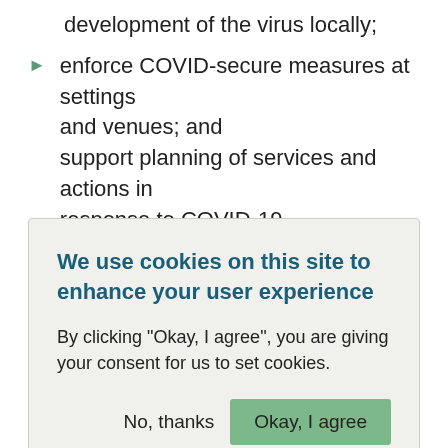development of the virus locally;
enforce COVID-secure measures at settings and venues; and support planning of services and actions in response to COVID-19.
Where possible the Council will aggregate
We use cookies on this site to enhance your user experience

By clicking "Okay, I agree", you are giving your consent for us to set cookies.

No, thanks    Okay, I agree